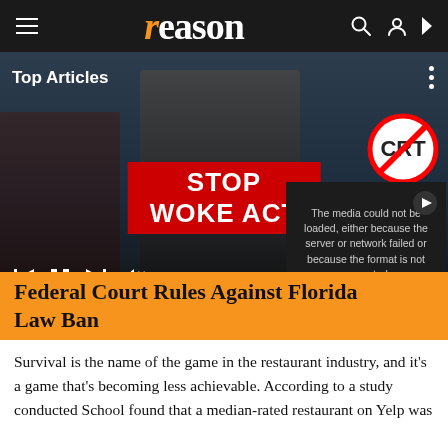reason
[Figure (photo): News website screenshot showing the Reason magazine website. A header navigation bar with hamburger menu, the Reason logo, search and account icons. Below is a hero image of a man at a podium with 'STOP WOKE ACT' banner, people holding anti-CRT signs. Media player controls and 'READ MORE' button overlay. A video error message overlay reads 'The media could not be loaded, either because the server or network failed or because the format is not supported.' with an X close button.]
Federal Court Rules Against Florida Law Ban
Survival is the name of the game in the restaurant industry, and it’s a game that’s becoming less achievable. According to a study conducted... School found that a median-rated restaurant on Yelp was